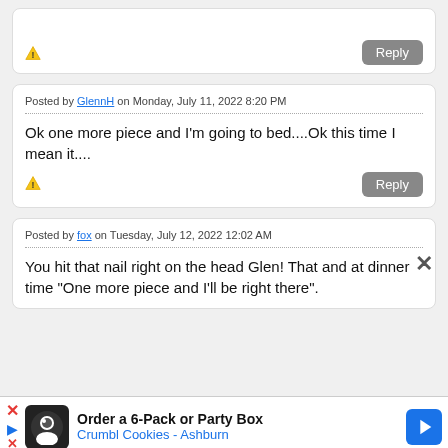Posted by GlennH on Monday, July 11, 2022 8:20 PM
Ok one more piece and I'm going to bed....Ok this time I mean it....
Posted by fox on Tuesday, July 12, 2022 12:02 AM
You hit that nail right on the head Glen! That and at dinner time "One more piece and I'll be right there".